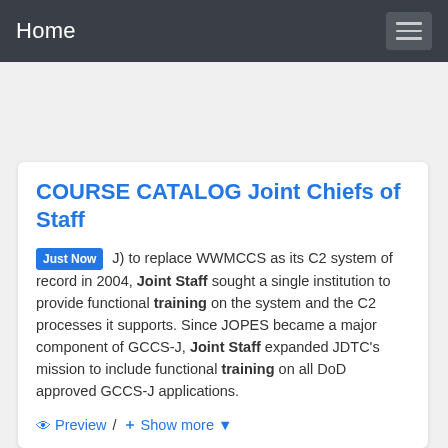Home
COURSE CATALOG Joint Chiefs of Staff
Just Now J) to replace WWMCCS as its C2 system of record in 2004, Joint Staff sought a single institution to provide functional training on the system and the C2 processes it supports. Since JOPES became a major component of GCCS-J, Joint Staff expanded JDTC's mission to include functional training on all DoD approved GCCS-J applications.
Preview / + Show more